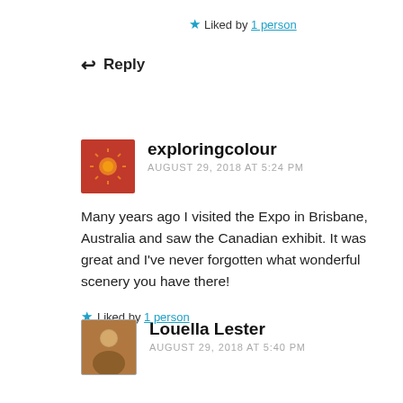★ Liked by 1 person
↩ Reply
exploringcolour
AUGUST 29, 2018 AT 5:24 PM
Many years ago I visited the Expo in Brisbane, Australia and saw the Canadian exhibit. It was great and I've never forgotten what wonderful scenery you have there!
★ Liked by 1 person
Louella Lester
AUGUST 29, 2018 AT 5:40 PM